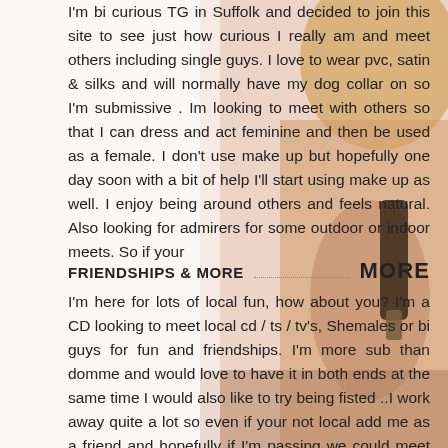I'm bi curious TG in Suffolk and decided to join this site to see just how curious I really am and meet others including single guys. I love to wear pvc, satin & silks and will normally have my dog collar on so I'm submissive . Im looking to meet with others so that I can dress and act feminine and then be used as a female. I don't use make up but hopefully one day soon with a bit of help I'll start using make up as well. I enjoy being around others and feels natural. Also looking for admirers for some outdoor or indoor meets. So if your
FRIENDSHIPS & MORE ............................................................. MORE
I'm here for lots of local fun, how about you? I'm a CD looking to meet local cd / ts / tv's, Shemales or bi guys for fun and friendships. I'm more sub than domme and would love to have it in both ends at the same time I would also like to try being fisted ..I work away quite a lot so even if your not local add me as a friend and hopefully if I'm passing we could meet up and